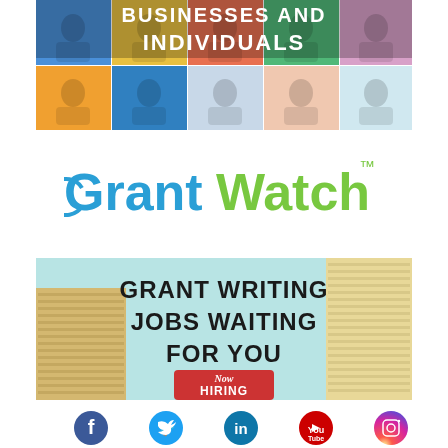[Figure (illustration): Banner with colorful grid of people portraits and white bold text reading 'BUSINESSES AND INDIVIDUALS']
[Figure (logo): GrantWatch logo with 'Grant' in blue and 'Watch' in green, TM mark]
[Figure (illustration): Banner with light blue background, stacks of papers on sides, bold text 'GRANT WRITING JOBS WAITING FOR YOU' with a red 'Now HIRING' sign at bottom]
[Figure (illustration): Row of 5 social media icons: Facebook (blue), Twitter (cyan), LinkedIn (teal), YouTube (red), Instagram (gradient)]